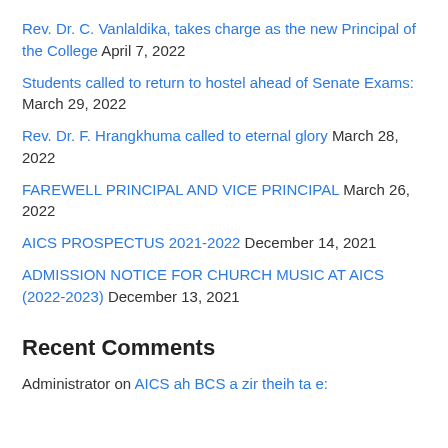Rev. Dr. C. Vanlaldika, takes charge as the new Principal of the College April 7, 2022
Students called to return to hostel ahead of Senate Exams: March 29, 2022
Rev. Dr. F. Hrangkhuma called to eternal glory March 28, 2022
FAREWELL PRINCIPAL AND VICE PRINCIPAL March 26, 2022
AICS PROSPECTUS 2021-2022 December 14, 2021
ADMISSION NOTICE FOR CHURCH MUSIC AT AICS (2022-2023) December 13, 2021
Recent Comments
Administrator on AICS ah BCS a zir theih ta e: